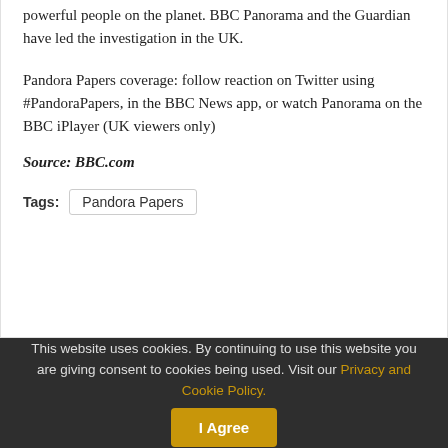powerful people on the planet. BBC Panorama and the Guardian have led the investigation in the UK.
Pandora Papers coverage: follow reaction on Twitter using #PandoraPapers, in the BBC News app, or watch Panorama on the BBC iPlayer (UK viewers only)
Source: BBC.com
Tags: Pandora Papers
This website uses cookies. By continuing to use this website you are giving consent to cookies being used. Visit our Privacy and Cookie Policy.